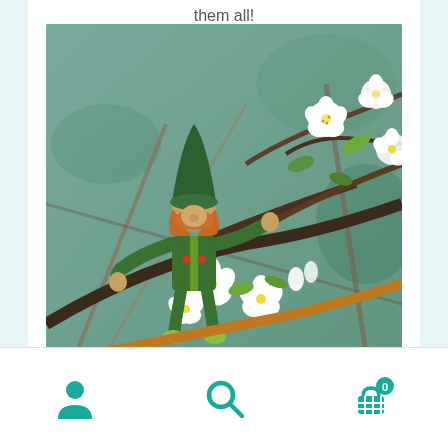them all!
[Figure (photo): A needle-felted gnome doll wearing a green hat and green outfit, perched among white spring blossoms on dark branches with a blurred green background.]
Next I am going to hop to the ground and
User icon | Search icon | Cart (0)